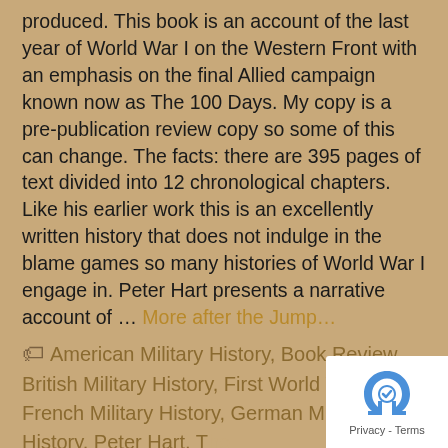produced.  This book is an account of the last year of World War I on the Western Front with an emphasis on the final Allied campaign known now as The 100 Days. My copy is a pre-publication review copy so some of this can change.  The facts: there are 395 pages of text divided into 12 chronological chapters. Like his earlier work this is an excellently written history that does not indulge in the blame games so many histories of World War I engage in.  Peter Hart presents a narrative account of … More after the Jump…
American Military History, Book Review, British Military History, First World War, French Military History, German Military History, Peter Hart, The Great War, World War I, WWI